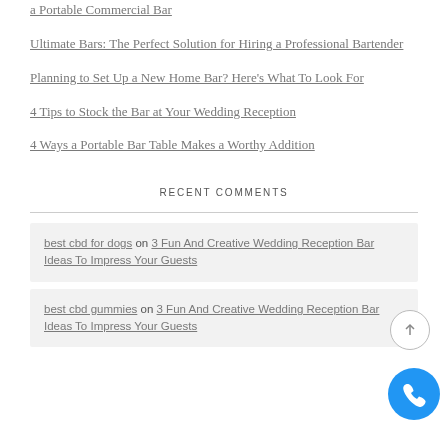a Portable Commercial Bar
Ultimate Bars: The Perfect Solution for Hiring a Professional Bartender
Planning to Set Up a New Home Bar? Here's What To Look For
4 Tips to Stock the Bar at Your Wedding Reception
4 Ways a Portable Bar Table Makes a Worthy Addition
RECENT COMMENTS
best cbd for dogs on 3 Fun And Creative Wedding Reception Bar Ideas To Impress Your Guests
best cbd gummies on 3 Fun And Creative Wedding Reception Bar Ideas To Impress Your Guests